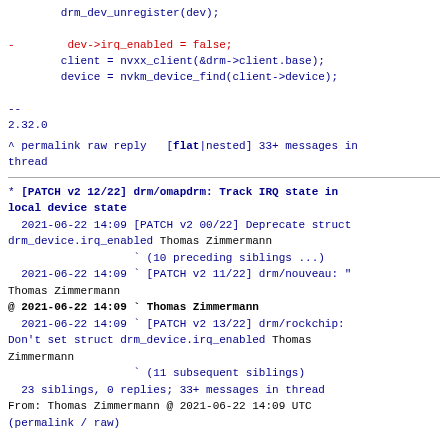drm_dev_unregister(dev);

-        dev->irq_enabled = false;
        client = nvxx_client(&drm->client.base);
        device = nvkm_device_find(client->device);

--
2.32.0
^ permalink raw reply   [flat|nested] 33+ messages in thread
* [PATCH v2 12/22] drm/omapdrm: Track IRQ state in local device state
  2021-06-22 14:09 [PATCH v2 00/22] Deprecate struct drm_device.irq_enabled Thomas Zimmermann
                   ` (10 preceding siblings ...)
  2021-06-22 14:09 ` [PATCH v2 11/22] drm/nouveau: " Thomas Zimmermann
@ 2021-06-22 14:09 ` Thomas Zimmermann
  2021-06-22 14:09 ` [PATCH v2 13/22] drm/rockchip: Don't set struct drm_device.irq_enabled Thomas Zimmermann
                   ` (11 subsequent siblings)
  23 siblings, 0 replies; 33+ messages in thread
From: Thomas Zimmermann @ 2021-06-22 14:09 UTC
(permalink / raw)